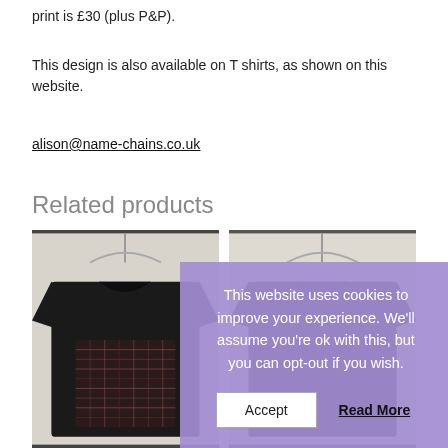print is £30 (plus P&P).
This design is also available on T shirts, as shown on this website.
alison@name-chains.co.uk
Related products
[Figure (photo): Two black T-shirts on hangers against a white background, the left one showing a patterned graphic print]
This website uses cookies to improve your experience. We'll assume you're ok with this, but you can opt-out if you wish.